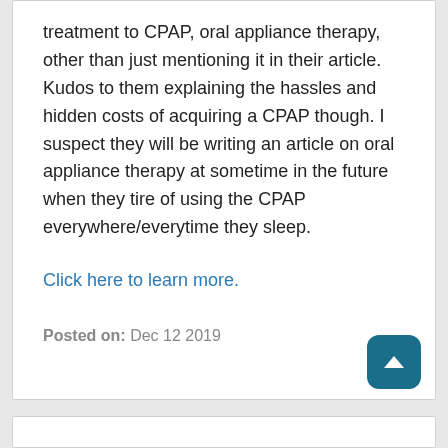treatment to CPAP, oral appliance therapy, other than just mentioning it in their article. Kudos to them explaining the hassles and hidden costs of acquiring a CPAP though. I suspect they will be writing an article on oral appliance therapy at sometime in the future when they tire of using the CPAP everywhere/everytime they sleep.
Click here to learn more.
Posted on: Dec 12 2019